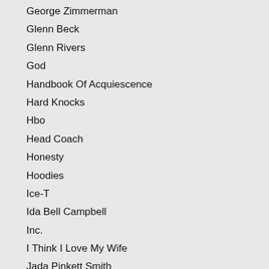George Zimmerman
Glenn Beck
Glenn Rivers
God
Handbook Of Acquiescence
Hard Knocks
Hbo
Head Coach
Honesty
Hoodies
Ice-T
Ida Bell Campbell
Inc.
I Think I Love My Wife
Jada Pinkett Smith
James Buford
Jason Collins
Jason Whitlock
Joe Budden